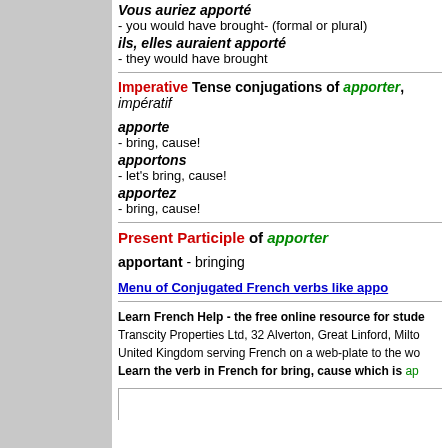Vous auriez apporté
- you would have brought- (formal or plural)
ils, elles auraient apporté
- they would have brought
Imperative Tense conjugations of apporter, impératif
apporte
- bring, cause!
apportons
- let's bring, cause!
apportez
- bring, cause!
Present Participle of apporter
apportant - bringing
Menu of Conjugated French verbs like apporter
Learn French Help - the free online resource for students. Transcity Properties Ltd, 32 Alverton, Great Linford, Milton Keynes, United Kingdom serving French on a web-plate to the world. Learn the verb in French for bring, cause which is apporter